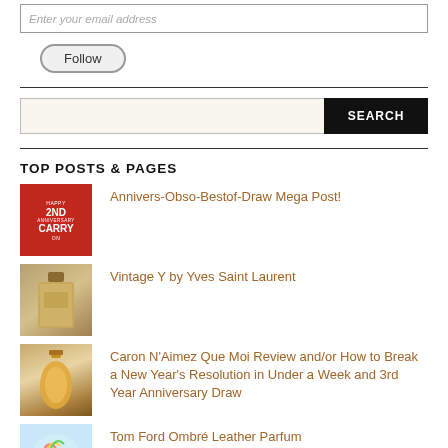[Figure (screenshot): Email input field with placeholder text 'Enter your email address']
[Figure (screenshot): Follow button with rounded border]
[Figure (screenshot): Search bar with input field and SEARCH button]
TOP POSTS & PAGES
Annivers-Obso-Bestof-Draw Mega Post!
Vintage Y by Yves Saint Laurent
Caron N'Aimez Que Moi Review and/or How to Break a New Year's Resolution in Under a Week and 3rd Year Anniversary Draw
Tom Ford Ombré Leather Parfum